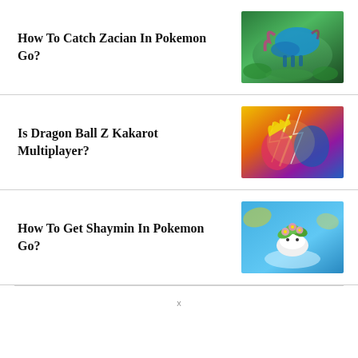How To Catch Zacian In Pokemon Go?
[Figure (photo): Zacian, a blue wolf-like Legendary Pokemon, standing in a forest environment]
Is Dragon Ball Z Kakarot Multiplayer?
[Figure (photo): Dragon Ball Z Kakarot game screenshot showing characters in combat with lightning effects]
How To Get Shaymin In Pokemon Go?
[Figure (photo): Shaymin, a small hedgehog-like Pokemon with flowers, on a blue background]
x